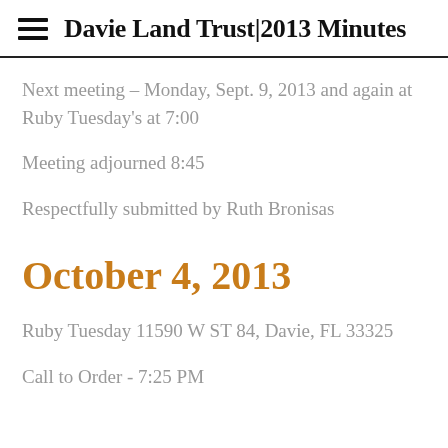Davie Land Trust | 2013 Minutes
Next meeting – Monday, Sept. 9, 2013 and again at Ruby Tuesday's at 7:00
Meeting adjourned 8:45
Respectfully submitted by Ruth Bronisas
October 4, 2013
Ruby Tuesday 11590 W ST 84, Davie, FL 33325
Call to Order - 7:25 PM